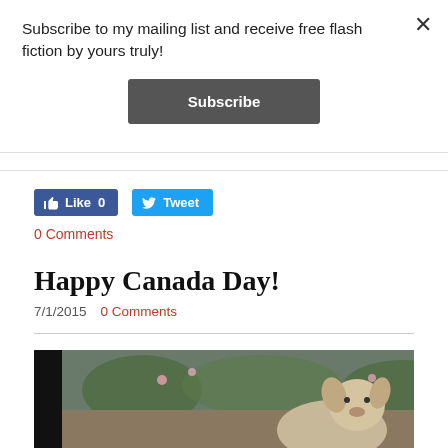Subscribe to my mailing list and receive free flash fiction by yours truly!
[Figure (screenshot): Subscribe button (dark gray rounded rectangle)]
[Figure (screenshot): Facebook Like 0 button (blue) and Twitter Tweet button (blue)]
0 Comments
Happy Canada Day!
7/1/2015   0 Comments
[Figure (photo): Partial photo of a dog (chihuahua) outdoors with trees and pink flowers in background]